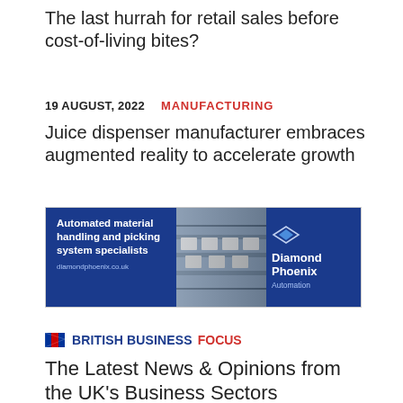The last hurrah for retail sales before cost-of-living bites?
19 AUGUST, 2022   MANUFACTURING
Juice dispenser manufacturer embraces augmented reality to accelerate growth
[Figure (illustration): Diamond Phoenix Automation banner ad: navy blue left panel with text 'Automated material handling and picking system specialists' and URL diamondphoenix.co.uk; center panel shows conveyor system photo; right navy panel with Diamond Phoenix Automation logo.]
BRITISH BUSINESS FOCUS
The Latest News & Opinions from the UK's Business Sectors